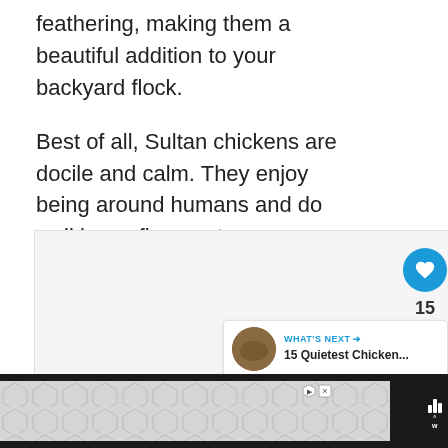feathering, making them a beautiful addition to your backyard flock.

Best of all, Sultan chickens are docile and calm. They enjoy being around humans and do well in confinement.
[Figure (other): Image placeholder with carousel dots and UI overlay elements including a heart/like button with count 15, a share button, and a 'What's Next' panel showing '15 Quietest Chicken...' with a thumbnail]